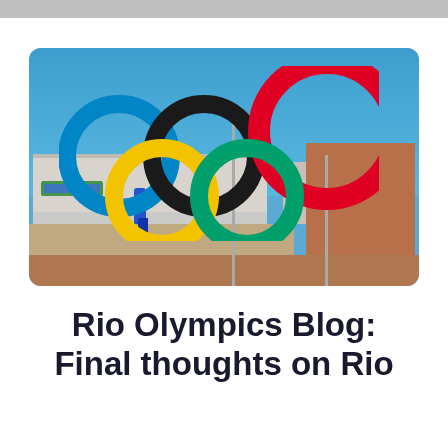[Figure (photo): Outdoor photograph of the Olympic rings sculpture (blue, black, red, yellow, green) in front of a stadium building under a clear blue sky in Rio de Janeiro. A person in a blue outfit is visible near the rings.]
Rio Olympics Blog: Final thoughts on Rio